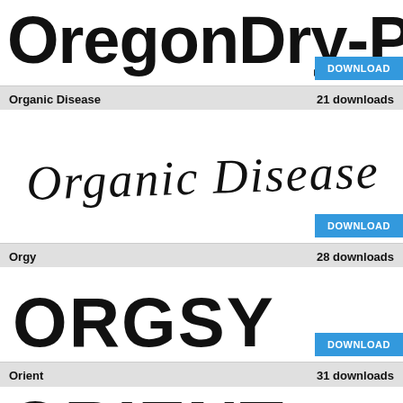[Figure (illustration): OregonDry-Plain font preview text, large bold stylized letters, cropped at right edge]
Organic Disease    21 downloads
[Figure (illustration): Organic Disease font preview showing handwritten-style text 'Organic Disease']
Orgy    28 downloads
[Figure (illustration): Orgy font preview showing stylized block letters 'ORGSY']
Orient    31 downloads
[Figure (illustration): Orient font preview showing geometric fragmented letters 'ORIENT']